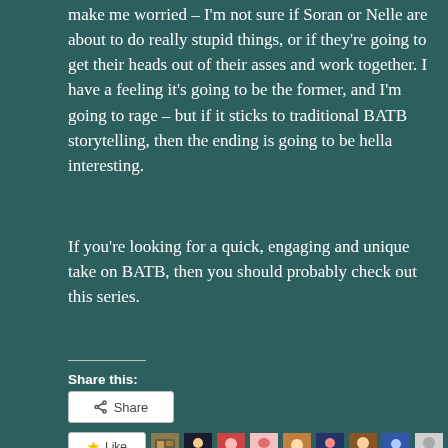make me worried – I'm not sure if Soran or Nelle are about to do really stupid things, or if they're going to get their heads out of their asses and work together. I have a feeling it's going to be the former, and I'm going to rage – but if it sticks to traditional BATB storytelling, then the ending is going to be hella interesting.
If you're looking for a quick, engaging and unique take on BATB, then you should probably check out this series.
Share this:
[Figure (screenshot): Share button with share icon]
[Figure (screenshot): Like button with star icon, followed by a row of blogger avatar thumbnails]
23 bloggers like this.